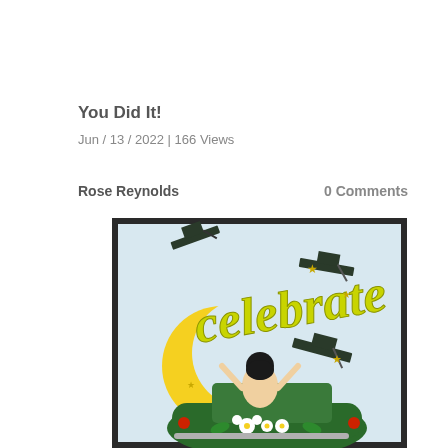You Did It!
Jun / 13 / 2022 | 166 Views
Rose Reynolds
0 Comments
[Figure (photo): A handmade graduation card featuring the word 'Celebrate' in yellow script lettering, with a green vintage car, a graduate tossing their cap, and decorative flowers and stars on a light blue background with a dark border.]